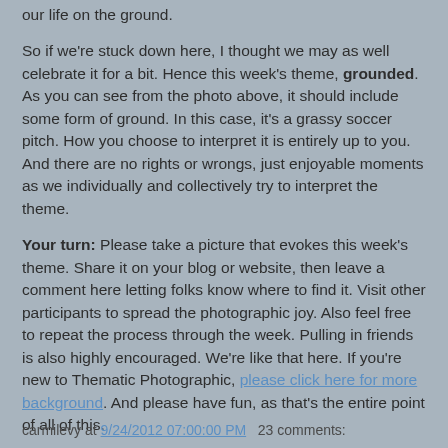our life on the ground.
So if we're stuck down here, I thought we may as well celebrate it for a bit. Hence this week's theme, grounded. As you can see from the photo above, it should include some form of ground. In this case, it's a grassy soccer pitch. How you choose to interpret it is entirely up to you. And there are no rights or wrongs, just enjoyable moments as we individually and collectively try to interpret the theme.
Your turn: Please take a picture that evokes this week's theme. Share it on your blog or website, then leave a comment here letting folks know where to find it. Visit other participants to spread the photographic joy. Also feel free to repeat the process through the week. Pulling in friends is also highly encouraged. We're like that here. If you're new to Thematic Photographic, please click here for more background. And please have fun, as that's the entire point of all of this.
carmilevy at 9/24/2012 07:00:00 PM   23 comments: